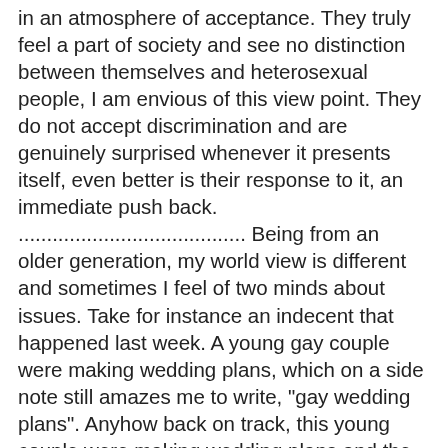in an atmosphere of acceptance. They truly feel a part of society and see no distinction between themselves and heterosexual people, I am envious of this view point. They do not accept discrimination and are genuinely surprised whenever it presents itself, even better is their response to it, an immediate push back. ........................................ Being from an older generation, my world view is different and sometimes I feel of two minds about issues. Take for instance an indecent that happened last week. A young gay couple were making wedding plans, which on a side note still amazes me to write, "gay wedding plans". Anyhow back on track, this young couple were making wedding plans and the photographer upon finding out it was for two men, sent them an email stating that they would not take the job due to their religious beliefs. ........................................ I at first felt it was the photographer's right to turn down the job. The email was polite, I felt at least they were being honest and I know religion is something that people hold close to the very core of their being. I feel it's a little scary to start interfering with someone's religious beliefs. I also think this type of person is probably not that flexible and it would only make things worse by making them feel something was being forced on